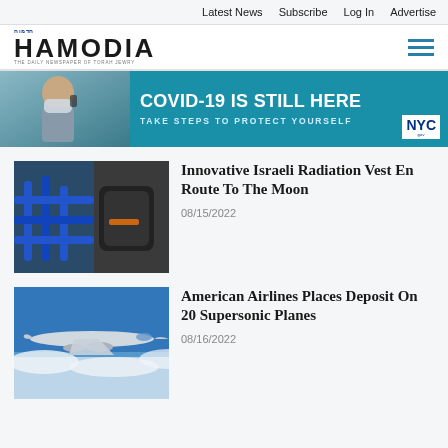Latest News  Subscribe  Log In  Advertise
[Figure (logo): Hamodia newspaper logo with Hebrew text and tagline 'The Daily Newspaper of Torah Jewry']
[Figure (infographic): NYC public health banner ad: COVID-19 IS STILL HERE - TAKE STEPS TO PROTECT YOURSELF, with photo of masked woman]
Innovative Israeli Radiation Vest En Route To The Moon
08/15/2022
[Figure (photo): Photo of radiation vest equipment with blue straps]
American Airlines Places Deposit On 20 Supersonic Planes
08/16/2022
[Figure (photo): Photo of a supersonic aircraft flying above clouds]